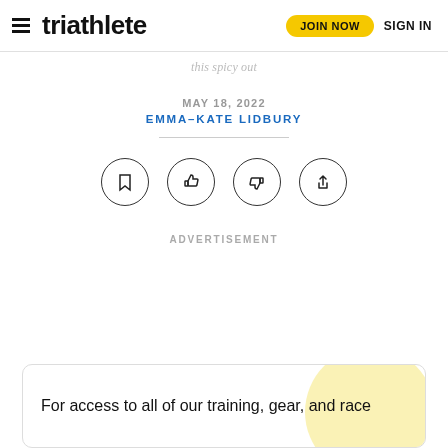triathlete — JOIN NOW  SIGN IN
this spicy out
MAY 18, 2022
EMMA–KATE LIDBURY
[Figure (other): Four circular action icon buttons: bookmark, thumbs up, thumbs down, share]
ADVERTISEMENT
For access to all of our training, gear, and race